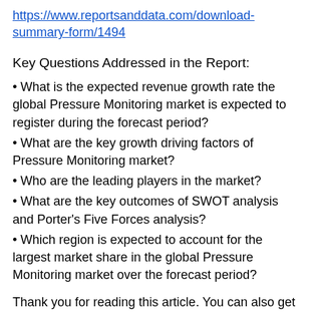https://www.reportsanddata.com/download-summary-form/1494
Key Questions Addressed in the Report:
• What is the expected revenue growth rate the global Pressure Monitoring market is expected to register during the forecast period?
• What are the key growth driving factors of Pressure Monitoring market?
• Who are the leading players in the market?
• What are the key outcomes of SWOT analysis and Porter's Five Forces analysis?
• Which region is expected to account for the largest market share in the global Pressure Monitoring market over the forecast period?
Thank you for reading this article. You can also get chapter-wise sections or region-wise report coverage for North